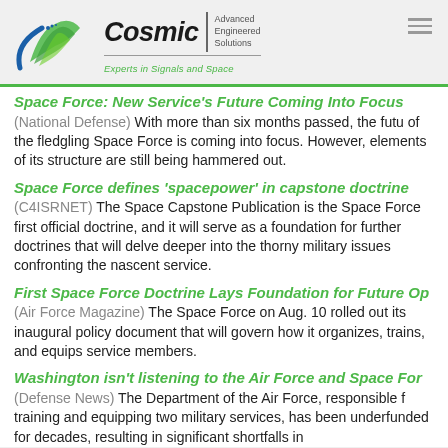Cosmic Advanced Engineered Solutions | Experts in Signals and Space
Space Force: New Service's Future Coming Into Focus
(National Defense) With more than six months passed, the future of the fledgling Space Force is coming into focus. However, elements of its structure are still being hammered out.
Space Force defines 'spacepower' in capstone doctrine
(C4ISRNET) The Space Capstone Publication is the Space Force first official doctrine, and it will serve as a foundation for further doctrines that will delve deeper into the thorny military issues confronting the nascent service.
First Space Force Doctrine Lays Foundation for Future Op
(Air Force Magazine) The Space Force on Aug. 10 rolled out its inaugural policy document that will govern how it organizes, trains, and equips service members.
Washington isn't listening to the Air Force and Space For
(Defense News) The Department of the Air Force, responsible for training and equipping two military services, has been underfunded for decades, resulting in significant shortfalls in readiness and modernization.